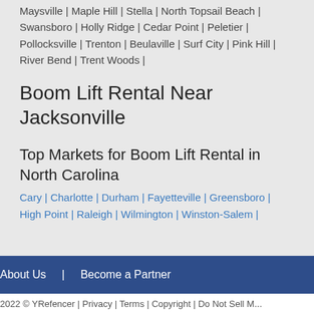Maysville | Maple Hill | Stella | North Topsail Beach | Swansboro | Holly Ridge | Cedar Point | Peletier | Pollocksville | Trenton | Beulaville | Surf City | Pink Hill | River Bend | Trent Woods |
Boom Lift Rental Near Jacksonville
Top Markets for Boom Lift Rental in North Carolina
Cary | Charlotte | Durham | Fayetteville | Greensboro | High Point | Raleigh | Wilmington | Winston-Salem |
About Us  |  Become a Partner
2022 © YRefencer | Privacy | Terms | Copyright | Do Not Sell M...